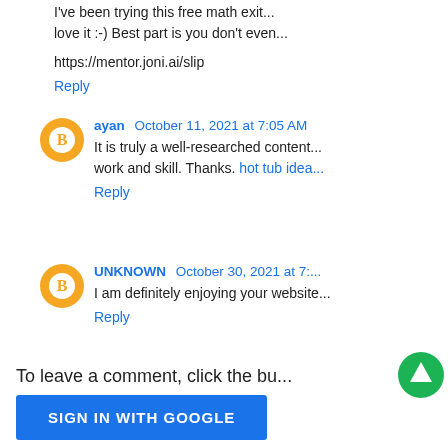I've been trying this free math exit... love it :-) Best part is you don't even...
https://mentor.joni.ai/slip
Reply
ayan  October 11, 2021 at 7:05 AM
It is truly a well-researched content... work and skill. Thanks. hot tub idea...
Reply
UNKNOWN  October 30, 2021 at 7:...
I am definitely enjoying your website...
Reply
To leave a comment, click the bu...
SIGN IN WITH GOOGLE